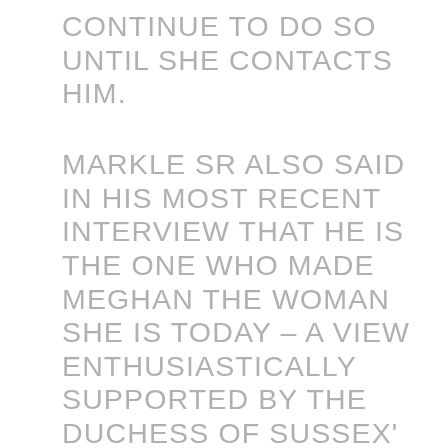CONTINUE TO DO SO UNTIL SHE CONTACTS HIM.
MARKLE SR ALSO SAID IN HIS MOST RECENT INTERVIEW THAT HE IS THE ONE WHO MADE MEGHAN THE WOMAN SHE IS TODAY – A VIEW ENTHUSIASTICALLY SUPPORTED BY THE DUCHESS OF SUSSEX' ESTRANGED HALF–SISTER SAMANTHA, 53.